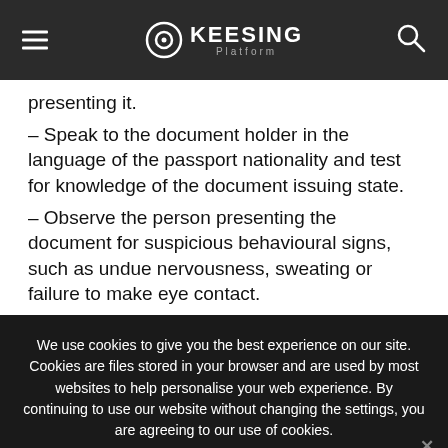KEESING Platform
presenting it.
– Speak to the document holder in the language of the passport nationality and test for knowledge of the document issuing state.
– Observe the person presenting the document for suspicious behavioural signs, such as undue nervousness, sweating or failure to make eye contact.
We use cookies to give you the best experience on our site. Cookies are files stored in your browser and are used by most websites to help personalise your web experience. By continuing to use our website without changing the settings, you are agreeing to our use of cookies.
Agree   Read More